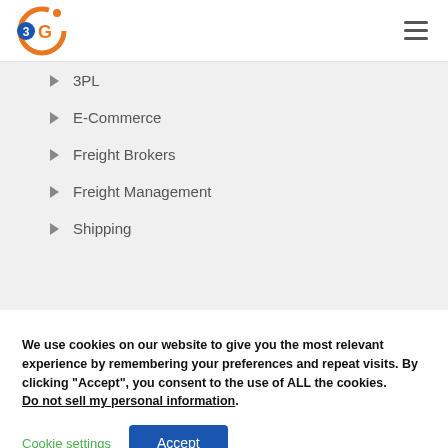[Figure (logo): 3GI company logo — circular orange arc with blue circle and number 3]
3PL
E-Commerce
Freight Brokers
Freight Management
Shipping
We use cookies on our website to give you the most relevant experience by remembering your preferences and repeat visits. By clicking “Accept”, you consent to the use of ALL the cookies. Do not sell my personal information.
Cookie settings
Accept